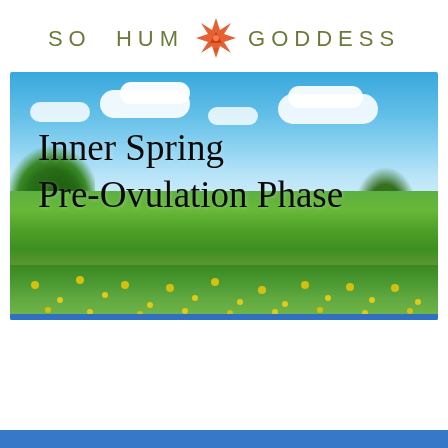SO HUM GODDESS
[Figure (photo): A scenic spring meadow with blue sky, white clouds, green grass, yellow dandelion flowers, and trees in the background. Overlaid cursive text reads 'Inner Spring Pre-Ovulation Phase'.]